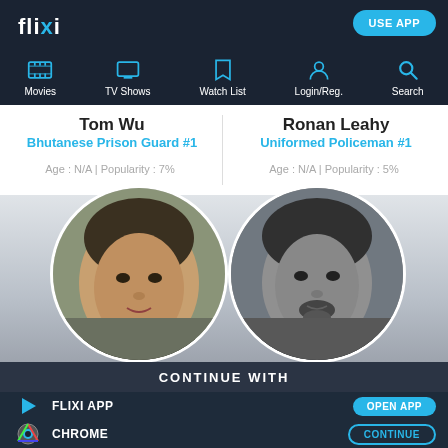flixi | USE APP | Movies | TV Shows | Watch List | Login/Reg. | Search
Tom Wu
Bhutanese Prison Guard #1
Age : N/A | Popularity : 7%
Ronan Leahy
Uniformed Policeman #1
Age : N/A | Popularity : 5%
[Figure (photo): Circular portrait photo of Tom Wu, a man with Asian features, warm tones]
[Figure (photo): Circular portrait photo of Ronan Leahy, a man with facial hair, black and white]
CONTINUE WITH
FLIXI APP
OPEN APP
CHROME
CONTINUE